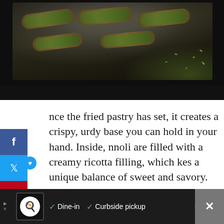[Figure (photo): Dark overhead photo of pistachio-topped cannoli pastries on a black slate board, dusted with powdered sugar]
nce the fried pastry has set, it creates a crispy, urdy base you can hold in your hand. Inside, nnoli are filled with a creamy ricotta filling, which kes a unique balance of sweet and savory.
ADVERTISEMENT
WHAT'S NEXT → 16 Most Popular...
[Figure (photo): Small circular thumbnail image of a dish in a dark bowl]
[Figure (infographic): Bottom advertisement bar: chef icon, Dine-in, Curbside pickup options with checkmarks, navigation arrow, and close button]